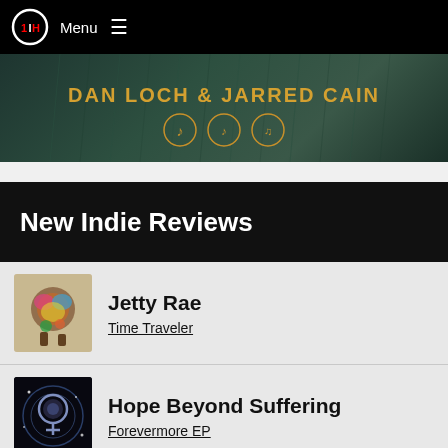Menu
[Figure (photo): Banner image with text DAN LOCH & JARRED CAIN on dark green background with music streaming icons]
New Indie Reviews
Jetty Rae
Time Traveler
Hope Beyond Suffering
Forevermore EP
Steve Hodges
So I Can Love Her - Single